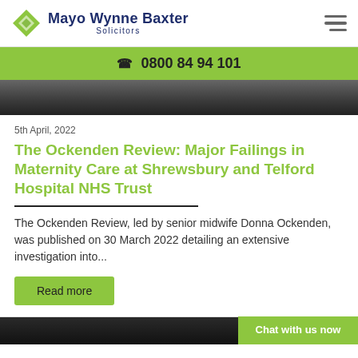Mayo Wynne Baxter Solicitors — 0800 84 94 101
[Figure (photo): Dark-toned photograph strip, partially visible at top of article section]
5th April, 2022
The Ockenden Review: Major Failings in Maternity Care at Shrewsbury and Telford Hospital NHS Trust
The Ockenden Review, led by senior midwife Donna Ockenden, was published on 30 March 2022 detailing an extensive investigation into...
Read more
[Figure (photo): Dark photograph strip at the bottom of the page, partially visible]
Chat with us now